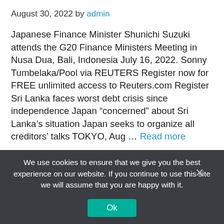August 30, 2022 by admin
Japanese Finance Minister Shunichi Suzuki attends the G20 Finance Ministers Meeting in Nusa Dua, Bali, Indonesia July 16, 2022. Sonny Tumbelaka/Pool via REUTERS Register now for FREE unlimited access to Reuters.com Register Sri Lanka faces worst debt crisis since independence Japan “concerned” about Sri Lanka’s situation Japan seeks to organize all creditors’ talks TOKYO, Aug ... Read more
We use cookies to ensure that we give you the best experience on our website. If you continue to use this site we will assume that you are happy with it.